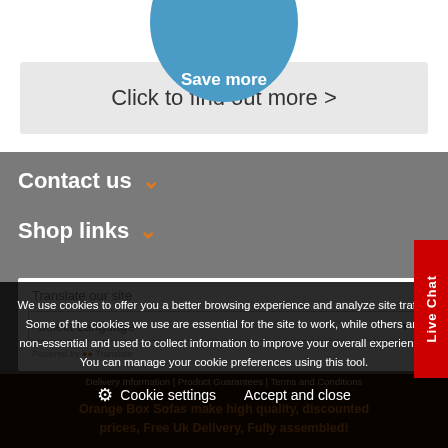[Figure (illustration): Partial blue circle button at the top with 'Save more' text]
Click to find out more >
Contact us
Shop links
Translate our site
Select Language
We use cookies to offer you a better browsing experience and analyze site traffic. Some of the cookies we use are essential for the site to work, while others are non-essential and used to collect information to improve your overall experience. You can manage your cookie preferences using this tool.
Cookie settings
Accept and close
Delivery Information | Product Guarantees | Terms and Conditions
Orange Box Sofas make high quality, discounted prices, Free Uk Delivery, Fully assembled!